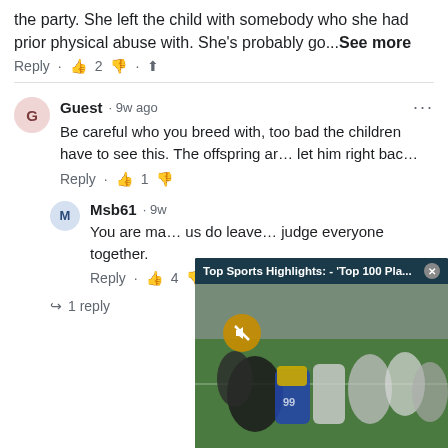the party. She left the child with somebody who she had prior physical abuse with. She's probably go...See more
Reply · 👍 2 👎 · share
Guest · 9w ago
Be careful who you breed with, too bad the children have to see this. The offspring ar... let him right bac...
Reply · 👍 1 👎
[Figure (screenshot): Video popup overlay showing 'Top Sports Highlights: - Top 100 Pla...' with X close button, mute icon, and blurred NFL football game image]
Msb61 · 9w
You are ma... us do leave... judge everyone together.
Reply · 👍 4 👎 · share
↵ 1 reply